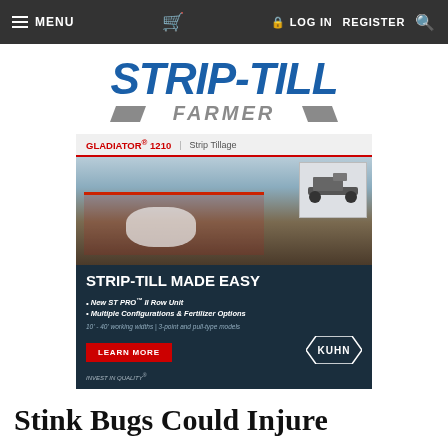MENU  [cart icon]  LOG IN  REGISTER  [search icon]
[Figure (logo): Strip-Till Farmer logo — bold blue italic text 'STRIP-TILL' above grey italic text 'FARMER' flanked by grey parallelogram bars]
[Figure (advertisement): Kuhn Gladiator 1210 Strip Tillage advertisement. Shows farm equipment in field. Text: STRIP-TILL MADE EASY. Bullets: New ST PRO II Row Unit; Multiple Configurations & Fertilizer Options. 10'-40' working widths | 3-point and pull-type models. LEARN MORE button. KUHN logo. INVEST IN QUALITY.]
Stink Bugs Could Injure